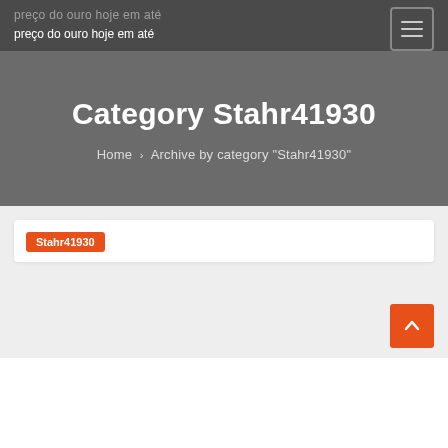preço do ouro hoje em até
Category Stahr41930
Home › Archive by category "Stahr41930"
Stahr41930